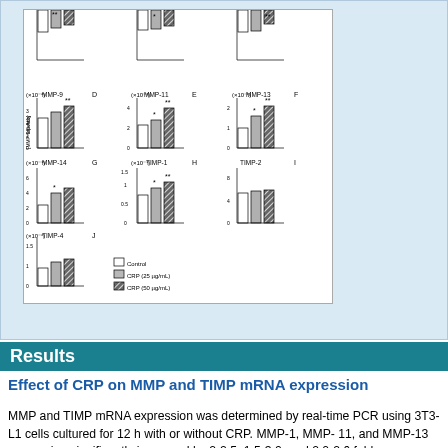[Figure (grouped-bar-chart): Multiple grouped bar chart panels (D, E, F, G, H, I, J) showing MMP-9, MMP-11, MMP-13, MMP-14, TIMP-1, TIMP-2, TIMP-4 intensity values for Control, CRP 25 µg/mL, and CRP 50 µg/mL conditions. Legend shows white=Control, light gray=CRP(25 µg/mL), dark hatched=CRP(50 µg/mL).]
(View in new window)
Results
Effect of CRP on MMP and TIMP mRNA expression
MMP and TIMP mRNA expression was determined by real-time PCR using 3T3-L1 cells cultured for 12 h with or without CRP. MMP-1, MMP-11, and MMP-13 expression significantly increased by 2-2.5, 1.5-3.0, and 2.0-2.6 fold, respectively, in cells stimulated with 25 and 50 µg/mL CRP, as compared to levels in unstimulated control cells (Fig. 2A, E, and F). MMP-